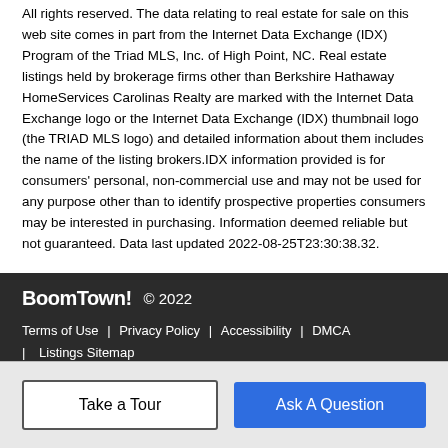All rights reserved. The data relating to real estate for sale on this web site comes in part from the Internet Data Exchange (IDX) Program of the Triad MLS, Inc. of High Point, NC. Real estate listings held by brokerage firms other than Berkshire Hathaway HomeServices Carolinas Realty are marked with the Internet Data Exchange logo or the Internet Data Exchange (IDX) thumbnail logo (the TRIAD MLS logo) and detailed information about them includes the name of the listing brokers.IDX information provided is for consumers' personal, non-commercial use and may not be used for any purpose other than to identify prospective properties consumers may be interested in purchasing. Information deemed reliable but not guaranteed. Data last updated 2022-08-25T23:30:38.32.
BoomTown! © 2022 | Terms of Use | Privacy Policy | Accessibility | DMCA | Listings Sitemap
Take a Tour | Ask A Question